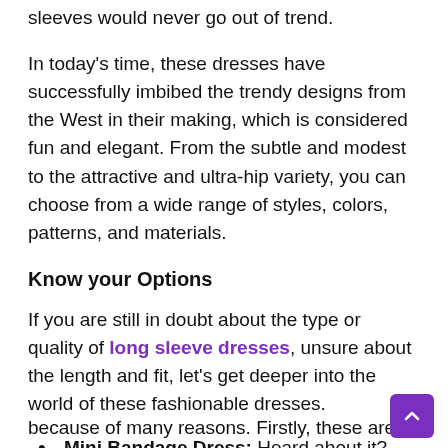sleeves would never go out of trend.
In today’s time, these dresses have successfully imbibed the trendy designs from the West in their making, which is considered fun and elegant. From the subtle and modest to the attractive and ultra-hip variety, you can choose from a wide range of styles, colors, patterns, and materials.
Know your Options
If you are still in doubt about the type or quality of long sleeve dresses, unsure about the length and fit, let’s get deeper into the world of these fashionable dresses.
Mini Bandage Dress: Heard about it? Seen it? Mini bandage dresses are generally full-sleeved because of many reasons. Firstly, these are mini